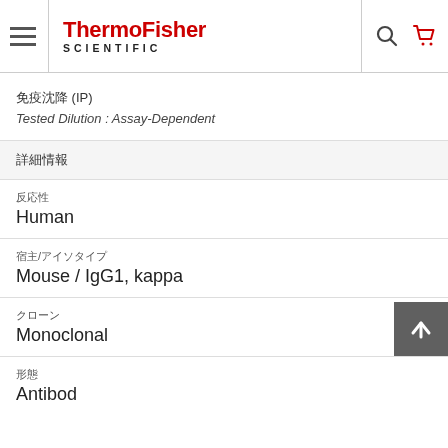ThermoFisher SCIENTIFIC
免疫沈降 (IP)
Tested Dilution : Assay-Dependent
詳細情報
反応性
Human
宿主/アイソタイプ
Mouse / IgG1, kappa
クローン
Monoclonal
形態
Antibod...